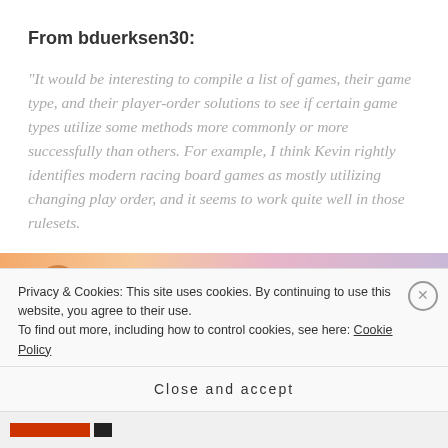From bduerksen30:
“It would be interesting to compile a list of games, their game type, and their player-order solutions to see if certain game types utilize some methods more commonly or more successfully than others. For example, I think Kevin rightly identifies modern racing board games as mostly utilizing changing play order, and it seems to work quite well in those rulesets.
[Figure (illustration): Partial view of a colorful abstract/banner image with warm orange gradient and purple tones, showing a circular avatar and a dark rounded rectangle button]
Privacy & Cookies: This site uses cookies. By continuing to use this website, you agree to their use.
To find out more, including how to control cookies, see here: Cookie Policy
Close and accept